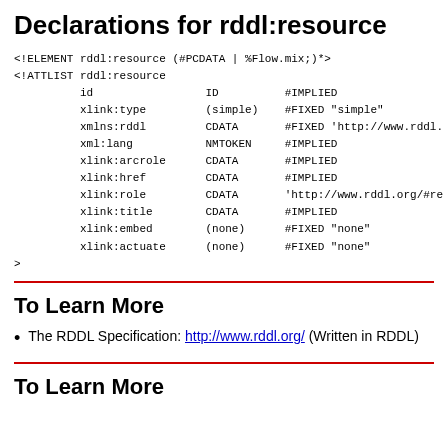Declarations for rddl:resource
<!ELEMENT rddl:resource (#PCDATA | %Flow.mix;)*>
<!ATTLIST rddl:resource
          id                 ID          #IMPLIED
          xlink:type         (simple)    #FIXED "simple"
          xmlns:rddl         CDATA       #FIXED 'http://www.rddl
          xml:lang           NMTOKEN     #IMPLIED
          xlink:arcrole      CDATA       #IMPLIED
          xlink:href         CDATA       #IMPLIED
          xlink:role         CDATA       'http://www.rddl.org/#re
          xlink:title        CDATA       #IMPLIED
          xlink:embed        (none)      #FIXED "none"
          xlink:actuate      (none)      #FIXED "none"
>
To Learn More
The RDDL Specification: http://www.rddl.org/ (Written in RDDL)
To Learn More